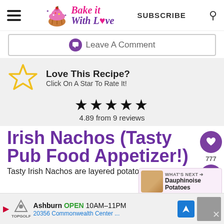Bake it With Love — SUBSCRIBE
Leave A Comment
Love This Recipe? Click On A Star To Rate It!
★★★★★ 4.89 from 9 reviews
Irish Nachos (Tasty Pub Food Appetizer!)
Tasty Irish Nachos are layered potato slice...
WHAT'S NEXT → Dauphinoise Potatoes
Ashburn OPEN 10AM–11PM 20356 Commonwealth Center ...